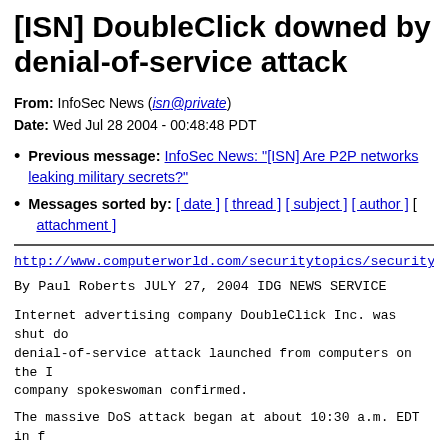[ISN] DoubleClick downed by denial-of-service attack
From: InfoSec News (isn@private)
Date: Wed Jul 28 2004 - 00:48:48 PDT
Previous message: InfoSec News: "[ISN] Are P2P networks leaking military secrets?"
Messages sorted by: [ date ] [ thread ] [ subject ] [ author ] [ attachment ]
http://www.computerworld.com/securitytopics/security/sto...
By Paul Roberts
JULY 27, 2004
IDG NEWS SERVICE
Internet advertising company DoubleClick Inc. was shut do... denial-of-service attack launched from computers on the I... company spokeswoman confirmed.
The massive DoS attack began at about 10:30 a.m. EDT in f... crippled the company's Web site and its advertising serve... distribute Web advertisements to other Web sites on the I...